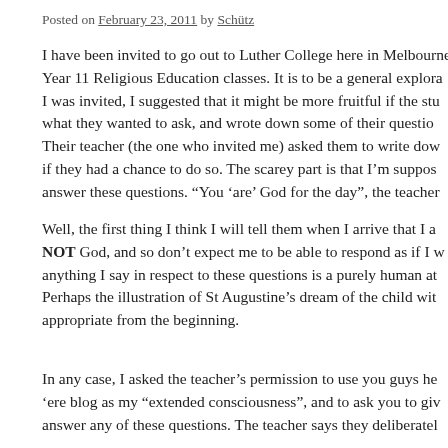Posted on February 23, 2011 by Schütz
I have been invited to go out to Luther College here in Melbourne Year 11 Religious Education classes. It is to be a general explora... I was invited, I suggested that it might be more fruitful if the students thought about what they wanted to ask, and wrote down some of their questions. Their teacher (the one who invited me) asked them to write down the questions they would ask if they had a chance to do so. The scarey part is that I'm supposed to answer these questions. "You 'are' God for the day", the teacher...
Well, the first thing I think I will tell them when I arrive that I am NOT God, and so don't expect me to be able to respond as if I w... anything I say in respect to these questions is a purely human at... Perhaps the illustration of St Augustine's dream of the child wit... appropriate from the beginning.
In any case, I asked the teacher's permission to use you guys he... 'ere blog as my "extended consciousness", and to ask you to give... answer any of these questions. The teacher says they deliberatel...